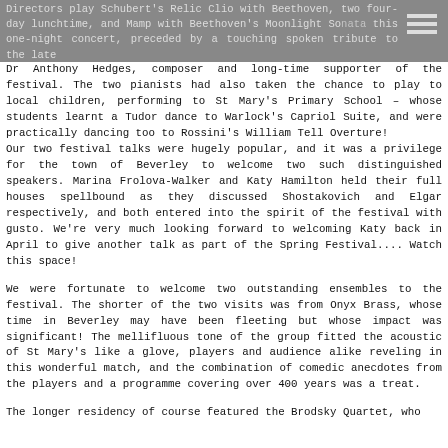Directors play Schubert's Relic Clio with Beethoven, two four-day lunchtime, and Mamp with Beethoven's Moonlight Sonata this one-night concert, preceded by a touching spoken tribute to the late
Dr Anthony Hedges, composer and long-time supporter of the festival. The two pianists had also taken the chance to play to local children, performing to St Mary's Primary School – whose students learnt a Tudor dance to Warlock's Capriol Suite, and were practically dancing too to Rossini's William Tell Overture!
Our two festival talks were hugely popular, and it was a privilege for the town of Beverley to welcome two such distinguished speakers. Marina Frolova-Walker and Katy Hamilton held their full houses spellbound as they discussed Shostakovich and Elgar respectively, and both entered into the spirit of the festival with gusto. We're very much looking forward to welcoming Katy back in April to give another talk as part of the Spring Festival.... Watch this space!
We were fortunate to welcome two outstanding ensembles to the festival. The shorter of the two visits was from Onyx Brass, whose time in Beverley may have been fleeting but whose impact was significant! The mellifluous tone of the group fitted the acoustic of St Mary's like a glove, players and audience alike reveling in this wonderful match, and the combination of comedic anecdotes from the players and a programme covering over 400 years was a treat.
The longer residency of course featured the Brodsky Quartet, who